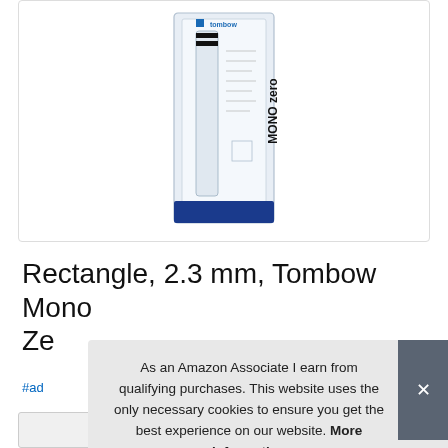[Figure (photo): Product photo of Tombow Mono Zero eraser in rectangular 2.3mm tip, shown in original packaging with clear plastic wrap and blue base, with MONO Zero branding written vertically]
Rectangle, 2.3 mm, Tombow Mono Zero
#ad
As an Amazon Associate I earn from qualifying purchases. This website uses the only necessary cookies to ensure you get the best experience on our website. More information